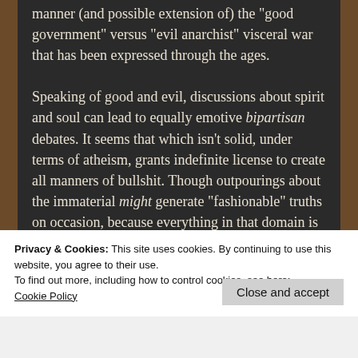manner (and possible extension of) the "good government" versus "evil anarchist" visceral war that has been expressed through the ages.

Speaking of good and evil, discussions about spirit and soul can lead to equally emotive bipartisan debates. It seems that which isn't solid, under terms of atheism, grants indefinite license to create all manners of bullshit. Though outpourings about the immaterial might generate "fashionable" truths on occasion, because everything in that domain is perceived to be unprovable, the nicest speaker may as well
Privacy & Cookies: This site uses cookies. By continuing to use this website, you agree to their use.
To find out more, including how to control cookies, see here: Cookie Policy
Close and accept